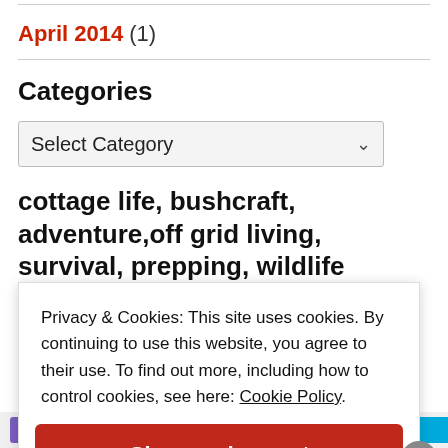April 2014 (1)
Categories
Select Category
cottage life, bushcraft, adventure,off grid living, survival, prepping, wildlife photography, motorcycle adventure,
Privacy & Cookies: This site uses cookies. By continuing to use this website, you agree to their use. To find out more, including how to control cookies, see here: Cookie Policy
Close and accept